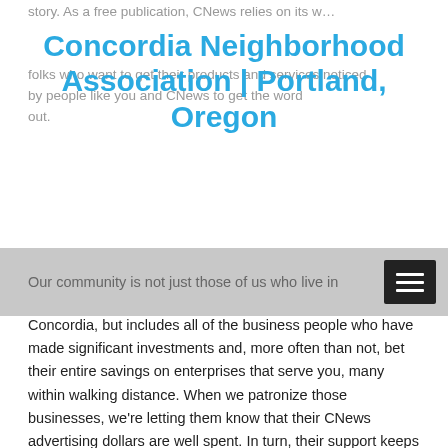Concordia Neighborhood Association | Portland, Oregon
story. As a free publication, CNews relies on its w... folks who want to get their products and services noticed by people like you and CNews to get the word out.
Our community is not just those of us who live in
Concordia, but includes all of the business people who have made significant investments and, more often than not, bet their entire savings on enterprises that serve you, many within walking distance. When we patronize those businesses, we're letting them know that their CNews advertising dollars are well spent. In turn, their support keeps the news and information flowing to you. Let those businesses know that you saw them here. Empowering this community starts with cooperation, but real money keeps the wheels going 'round.
And around we go indeed! Are we moving in the right